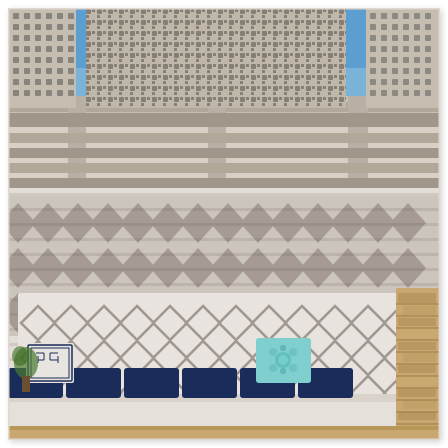[Figure (photo): Outdoor patio area with a white pergola overhead featuring decorative laser-cut lattice panels creating geometric diamond/rhombus shadow patterns on the wall and floor below. A built-in bench seat with navy blue cushions and decorative pillows (one with a geometric greek key pattern, one teal with a floral design) runs along the wall. A decorative white perforated screen panel with a diamond lattice pattern acts as a privacy wall. A stone/sandstone feature wall is visible on the right. The sky is bright blue above. Shadows from the lattice roof cast intricate geometric patterns across the white walls and seating area.]